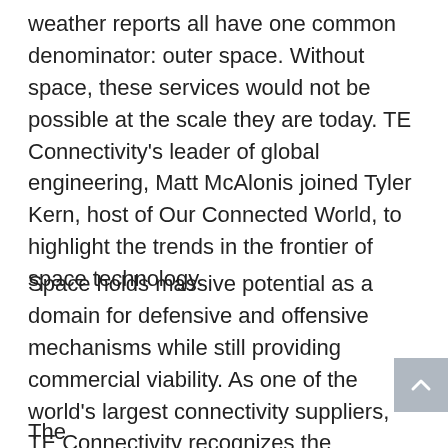weather reports all have one common denominator: outer space. Without space, these services would not be possible at the scale they are today. TE Connectivity's leader of global engineering, Matt McAlonis joined Tyler Kern, host of Our Connected World, to highlight the trends in the frontier of space technology.
Space holds massive potential as a domain for defensive and offensive mechanisms while still providing commercial viability. As one of the world's largest connectivity suppliers, TE Connectivity recognizes the importance of the space arena through its aerospace, defense, and marine business.
The...